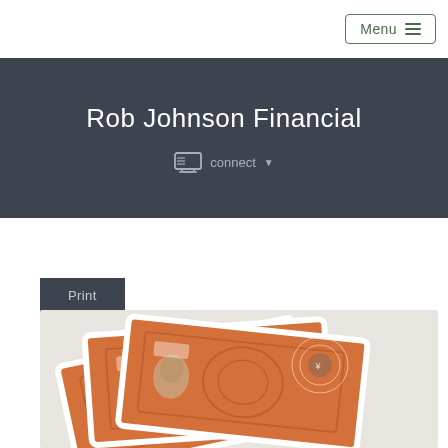Menu
Rob Johnson Financial
connect
Print
[Figure (photo): Fanned stack of Japanese yen banknotes on a white background]